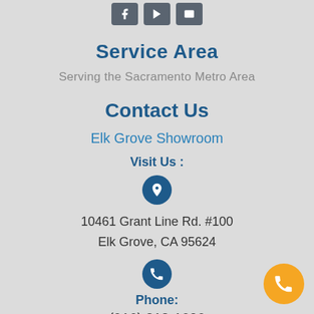[Figure (illustration): Three icon buttons in dark gray boxes (social/share icons)]
Service Area
Serving the Sacramento Metro Area
Contact Us
Elk Grove Showroom
Visit Us :
[Figure (illustration): Dark blue circle with white location pin icon]
10461 Grant Line Rd. #100
Elk Grove, CA 95624
[Figure (illustration): Dark blue circle with white phone icon]
Phone:
(916) 312-1606
[Figure (illustration): Orange circle button with white phone icon, bottom right corner]